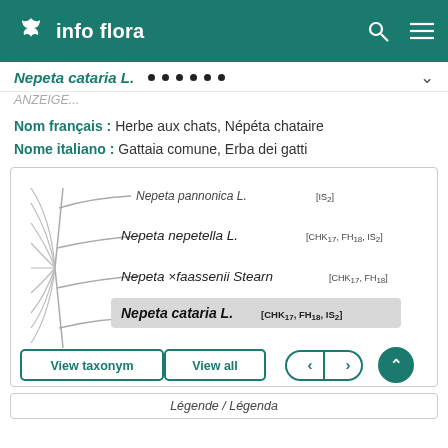info flora
Nepeta cataria L.
Nom français : Herbe aux chats, Népéta chataire
Nome italiano : Gattaia comune, Erba dei gatti
[Figure (other): Phylogenetic/taxonomic tree showing Nepeta species: Nepeta pannonica L.[IS2], Nepeta nepetella L.[CHK17, FH18, IS2], Nepeta ×faassenii Stearn[CHK17, FH18], Nepeta cataria L. [CHK17, FH18, IS2] (highlighted)]
View taxonym   View all
Légende / Légenda